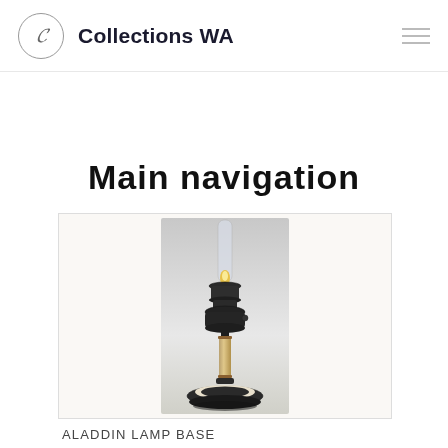Collections WA
Main navigation
[Figure (photo): An Aladdin lamp base — a tall oil lamp with a dark metal burner assembly, ivory/cream colored column stem, and a dark circular base, with a clear glass chimney at the top.]
ALADDIN LAMP BASE